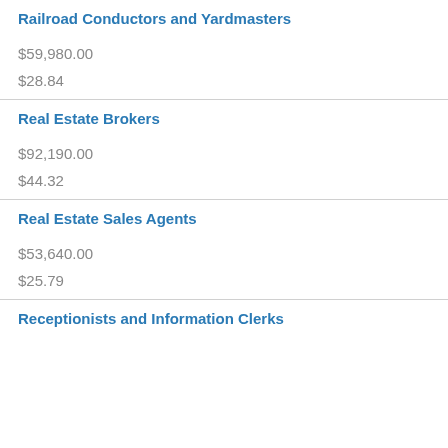| Occupation | Annual Salary | Hourly Rate |
| --- | --- | --- |
| Railroad Conductors and Yardmasters | $59,980.00 | $28.84 |
| Real Estate Brokers | $92,190.00 | $44.32 |
| Real Estate Sales Agents | $53,640.00 | $25.79 |
| Receptionists and Information Clerks |  |  |